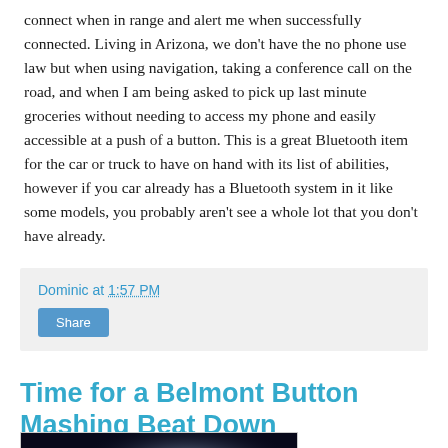connect when in range and alert me when successfully connected. Living in Arizona, we don't have the no phone use law but when using navigation, taking a conference call on the road, and when I am being asked to pick up last minute groceries without needing to access my phone and easily accessible at a push of a button. This is a great Bluetooth item for the car or truck to have on hand with its list of abilities, however if you car already has a Bluetooth system in it like some models, you probably aren't see a whole lot that you don't have already.
Dominic at 1:57 PM
Share
Time for a Belmont Button Mashing Beat Down
[Figure (photo): Castlevania game logo/artwork showing a gothic figure with chains against a dark blue moonlit background with castle. Text reads 'Castlevania'.]